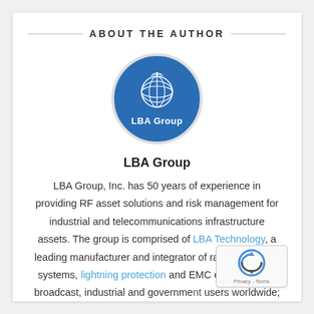ABOUT THE AUTHOR
[Figure (logo): LBA Group circular logo with blue background, globe icon and antenna, white text 'LBA Group']
LBA Group
LBA Group, Inc. has 50 years of experience in providing RF asset solutions and risk management for industrial and telecommunications infrastructure assets. The group is comprised of LBA Technology, a leading manufacturer and integrator of radio frequency systems, lightning protection and EMC equipment for broadcast, industrial and government users worldwide; the professional consultancy